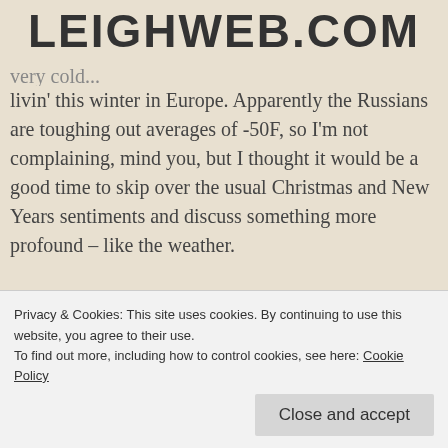LEIGHWEB.COM
livin' this winter in Europe. Apparently the Russians are toughing out averages of -50F, so I'm not complaining, mind you, but I thought it would be a good time to skip over the usual Christmas and New Years sentiments and discuss something more profound – like the weather.
And that brings us back to the cats. We thought the darlings would stay happily indoors all their life, but our boys tunneled out of the house at the first sign of spring and spent last summer hanging out across the
Privacy & Cookies: This site uses cookies. By continuing to use this website, you agree to their use.
To find out more, including how to control cookies, see here: Cookie Policy
Close and accept
Christian home, and befriended it. In the meantime,